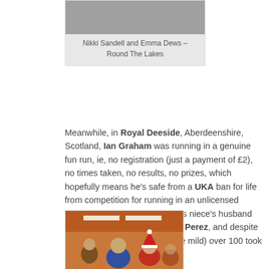[Figure (photo): Partial view of a photo showing Nikki Sandell and Emma Dews at Round The Lakes event]
Nikki Sandell and Emma Dews – Round The Lakes
Meanwhile, in Royal Deeside, Aberdeenshire, Scotland, Ian Graham was running in a genuine fun run, ie, no registration (just a payment of £2), no times taken, no results, no prizes, which hopefully means he's safe from a UKA ban for life from competition for running in an unlicensed event!  Ian was running with his niece's husband (his 'nephew-in-law'?), Dennis Perez, and despite the pouring rain (although quite mild) over 100 took part.
[Figure (photo): Photo of people including someone wearing a Santa hat, appearing to be at a fun run event in Royal Deeside]